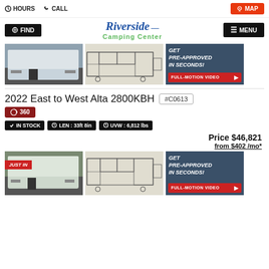HOURS  CALL  MAP
[Figure (logo): Riverside Camping Center logo with FIND and MENU buttons]
[Figure (photo): RV trailer photo]
[Figure (schematic): RV floor plan blueprint]
[Figure (infographic): GET PRE-APPROVED IN SECONDS! promotion with FULL-MOTION VIDEO button]
2022 East to West Alta 2800KBH  #C0613
360
IN STOCK  LEN : 33ft 8in  UVW : 6,812 lbs
Price $46,821
from $402 /mo*
[Figure (photo): RV trailer photo with JUST IN tag]
[Figure (schematic): RV floor plan blueprint]
[Figure (infographic): GET PRE-APPROVED IN SECONDS! promotion with FULL-MOTION VIDEO button]